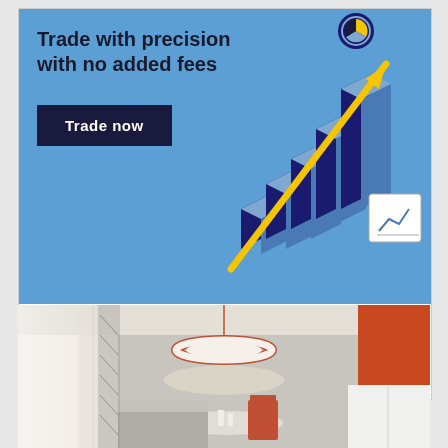[Figure (infographic): Lightspeed Crypto advertisement banner. Blue background with 3D bar chart illustration showing rising bars with a yellow arrow going upward. Text reads 'Trade with precision with no added fees' and a dark navy 'Trade now' button. White bottom section with Lightspeed Crypto logo.]
[Figure (photo): Interior room photo showing a modern living/dining space with a red circular pendant lamp, red chair, white furniture, and neutral gray walls with an orange accent wall on the right.]